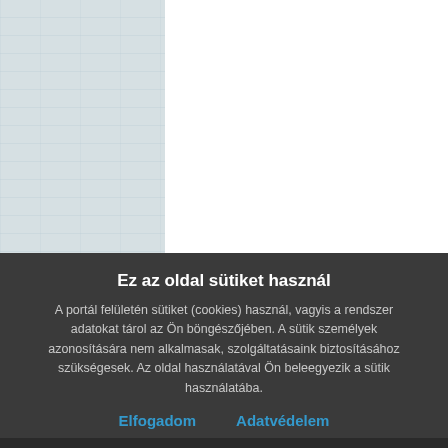[Figure (screenshot): Split background: left side shows a light gray-blue textured panel, right side is plain white. This represents a website screenshot partially obscured by a cookie consent dialog.]
Ez az oldal sütiket használ
A portál felületén sütiket (cookies) használ, vagyis a rendszer adatokat tárol az Ön böngészőjében. A sütik személyek azonosítására nem alkalmasak, szolgáltatásaink biztosításához szükségesek. Az oldal használatával Ön beleegyezik a sütik használatába.
Elfogadom    Adatvédelem